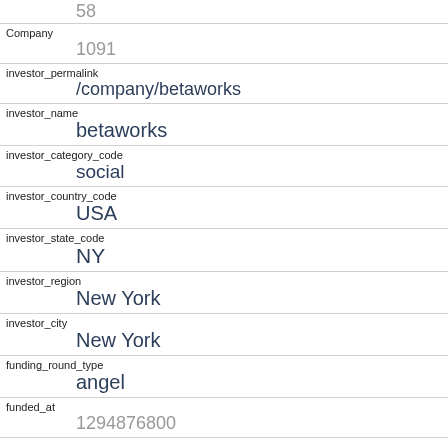58
Company
1091
investor_permalink
/company/betaworks
investor_name
betaworks
investor_category_code
social
investor_country_code
USA
investor_state_code
NY
investor_region
New York
investor_city
New York
funding_round_type
angel
funded_at
1294876800